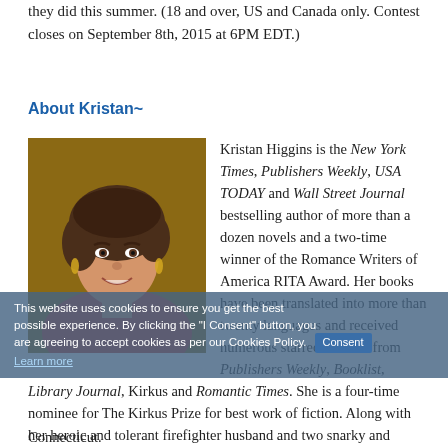they did this summer. (18 and over, US and Canada only. Contest closes on September 8th, 2015 at 6PM EDT.)
About Kristan~
[Figure (photo): Portrait photo of Kristan Higgins, a woman with short dark hair, smiling, wearing a red sleeveless top]
Kristan Higgins is the New York Times, Publishers Weekly, USA TODAY and Wall Street Journal bestselling author of more than a dozen novels and a two-time winner of the Romance Writers of America RITA Award. Her books have been translated into more than twenty languages and received numerous starred reviews from Publishers Weekly, Booklist, Library Journal, Kirkus and Romantic Times. She is a four-time nominee for The Kirkus Prize for best work of fiction. Along with her heroic and tolerant firefighter husband and two snarky and entertaining children, Kristan lives in her hometown in Connecticut.